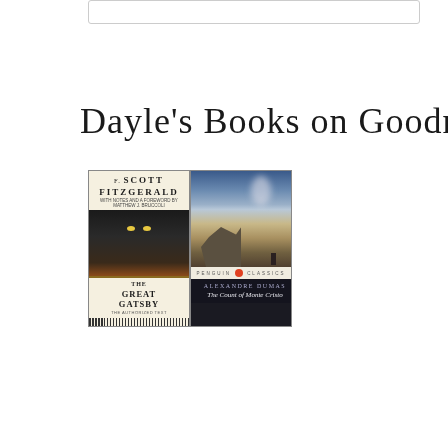Dayle's Books on Goodreads
[Figure (illustration): Two book covers side by side: The Great Gatsby by F. Scott Fitzgerald (abridged text) on the left with dark cover featuring eyes, and The Count of Monte Cristo by Alexandre Dumas (Penguin Classics) on the right with a landscape painting cover]